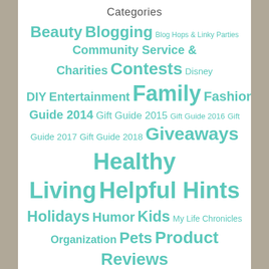Categories
Beauty Blogging Blog Hops & Linky Parties Community Service & Charities Contests Disney DIY Entertainment Family Fashion Gift Guide 2014 Gift Guide 2015 Gift Guide 2016 Gift Guide 2017 Gift Guide 2018 Giveaways Healthy Living Helpful Hints Holidays Humor Kids My Life Chronicles Organization Pets Product Reviews Psychology Rally Point Rants, Raves, Reviews Recipes Saving $$ Survival Technology & Gadgets Travel